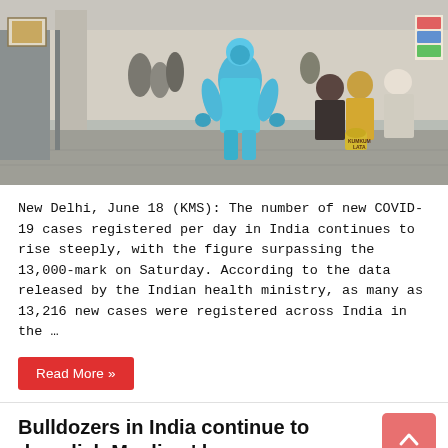[Figure (photo): A healthcare worker in blue full PPE suit walking through a hospital corridor with patients seated along the wall in India during COVID-19 pandemic]
New Delhi, June 18 (KMS): The number of new COVID-19 cases registered per day in India continues to rise steeply, with the figure surpassing the 13,000-mark on Saturday. According to the data released by the Indian health ministry, as many as 13,216 new cases were registered across India in the …
Read More »
Bulldozers in India continue to demolish Muslims' houses, raze right to dissent